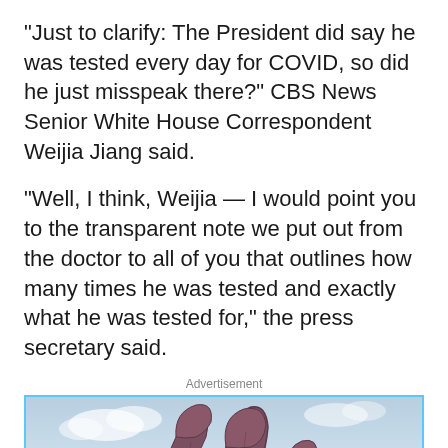“Just to clarify: The President did say he was tested every day for COVID, so did he just misspeak there?” CBS News Senior White House Correspondent Weijia Jiang said.
“Well, I think, Weijia — I would point you to the transparent note we put out from the doctor to all of you that outlines how many times he was tested and exactly what he was tested for,” the press secretary said.
Advertisement
[Figure (photo): Photo of large dinosaur sculptures outdoors against a partly cloudy sky, with trees in the background.]